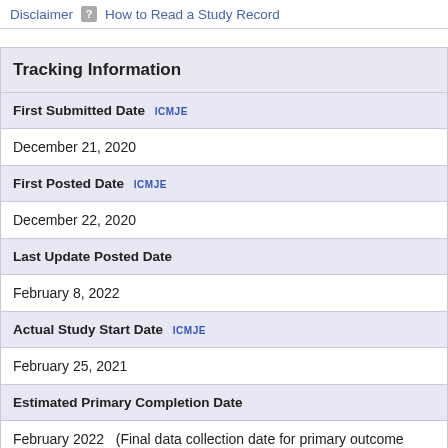Disclaimer  How to Read a Study Record
| Field | Value |
| --- | --- |
| Tracking Information |  |
| First Submitted Date ICMJE |  |
| December 21, 2020 |  |
| First Posted Date ICMJE |  |
| December 22, 2020 |  |
| Last Update Posted Date |  |
| February 8, 2022 |  |
| Actual Study Start Date ICMJE |  |
| February 25, 2021 |  |
| Estimated Primary Completion Date |  |
| February 2022   (Final data collection date for primary outcome measu |  |